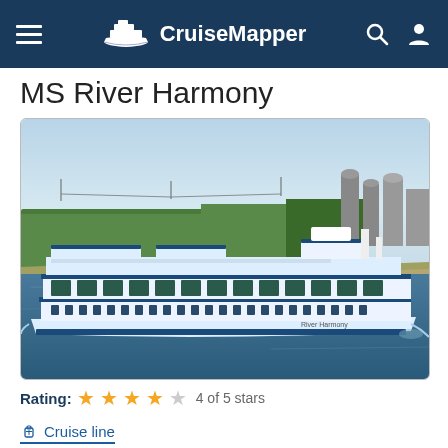CruiseMapper
MS River Harmony
[Figure (photo): Photo of MS River Harmony river cruise ship sailing on a wide river with green trees and industrial buildings in the background. The ship is white with blue trim, multi-decked with an open top deck.]
Rating: 4 of 5 stars
Cruise line